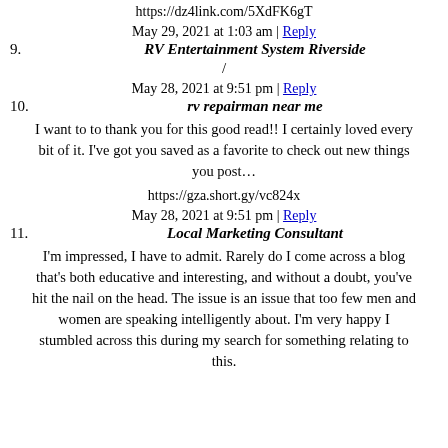https://dz4link.com/5XdFK6gT
May 29, 2021 at 1:03 am | Reply
9. RV Entertainment System Riverside
/
May 28, 2021 at 9:51 pm | Reply
10. rv repairman near me
I want to to thank you for this good read!! I certainly loved every bit of it. I've got you saved as a favorite to check out new things you post…
https://gza.short.gy/vc824x
May 28, 2021 at 9:51 pm | Reply
11. Local Marketing Consultant
I'm impressed, I have to admit. Rarely do I come across a blog that's both educative and interesting, and without a doubt, you've hit the nail on the head. The issue is an issue that too few men and women are speaking intelligently about. I'm very happy I stumbled across this during my search for something relating to this.